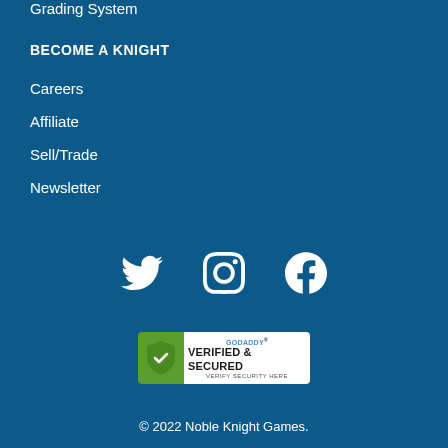Grading System
BECOME A KNIGHT
Careers
Affiliate
Sell/Trade
Newsletter
[Figure (infographic): Social media icons: Twitter bird icon, Instagram camera icon, Facebook F icon]
[Figure (logo): GoDaddy Verified & Secured badge - green shield on left, white area on right with text GODADDY VERIFIED & SECURED VERIFY SECURITY HERE]
© 2022 Noble Knight Games.